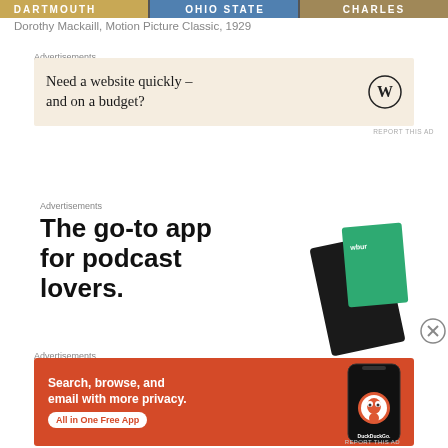[Figure (photo): Top strip showing partial text DARTMOUTH, OHIO STATE, and another obscured text in colorful banner/image]
Dorothy Mackaill, Motion Picture Classic, 1929
Advertisements
[Figure (screenshot): Advertisement: Need a website quickly – and on a budget? WordPress logo on right side. Beige/cream background.]
REPORT THIS AD
Advertisements
[Figure (screenshot): Advertisement: The go-to app for podcast lovers. Shows podcast app imagery with WBUR card on right side.]
Advertisements
[Figure (screenshot): DuckDuckGo advertisement with orange background. Text: Search, browse, and email with more privacy. All in One Free App. Shows phone with DuckDuckGo logo.]
REPORT THIS AD